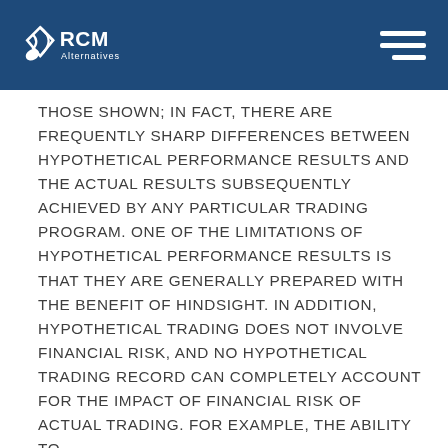RCM Alternatives
THOSE SHOWN; IN FACT, THERE ARE FREQUENTLY SHARP DIFFERENCES BETWEEN HYPOTHETICAL PERFORMANCE RESULTS AND THE ACTUAL RESULTS SUBSEQUENTLY ACHIEVED BY ANY PARTICULAR TRADING PROGRAM. ONE OF THE LIMITATIONS OF HYPOTHETICAL PERFORMANCE RESULTS IS THAT THEY ARE GENERALLY PREPARED WITH THE BENEFIT OF HINDSIGHT. IN ADDITION, HYPOTHETICAL TRADING DOES NOT INVOLVE FINANCIAL RISK, AND NO HYPOTHETICAL TRADING RECORD CAN COMPLETELY ACCOUNT FOR THE IMPACT OF FINANCIAL RISK OF ACTUAL TRADING. FOR EXAMPLE, THE ABILITY TO